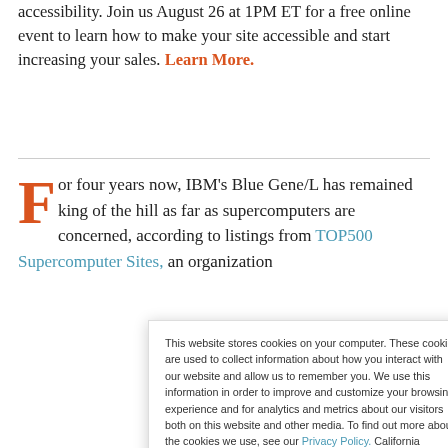accessibility. Join us August 26 at 1PM ET for a free online event to learn how to make your site accessible and start increasing your sales. Learn More.
For four years now, IBM's Blue Gene/L has remained king of the hill as far as supercomputers are concerned, according to listings from TOP500 Supercomputer Sites, an organization
This website stores cookies on your computer. These cookies are used to collect information about how you interact with our website and allow us to remember you. We use this information in order to improve and customize your browsing experience and for analytics and metrics about our visitors both on this website and other media. To find out more about the cookies we use, see our Privacy Policy. California residents have the right to direct us not to sell their personal information to third parties by filing an Opt-Out Request: Do Not Sell My Personal Info.
Accept